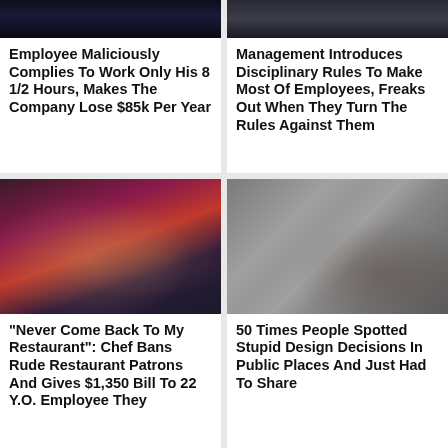[Figure (photo): Dark scene photo at top of first card]
Employee Maliciously Complies To Work Only His 8 1/2 Hours, Makes The Company Lose $85k Per Year
[Figure (photo): Dark indoor scene photo at top of second card]
Management Introduces Disciplinary Rules To Make Most Of Employees, Freaks Out When They Turn The Rules Against Them
[Figure (photo): Couple smiling at restaurant or event, woman with long hair and red lipstick, man in colorful jacket]
"Never Come Back To My Restaurant": Chef Bans Rude Restaurant Patrons And Gives $1,350 Bill To 22 Y.O. Employee They
[Figure (photo): Person peeking through gap in bathroom stall door]
50 Times People Spotted Stupid Design Decisions In Public Places And Just Had To Share